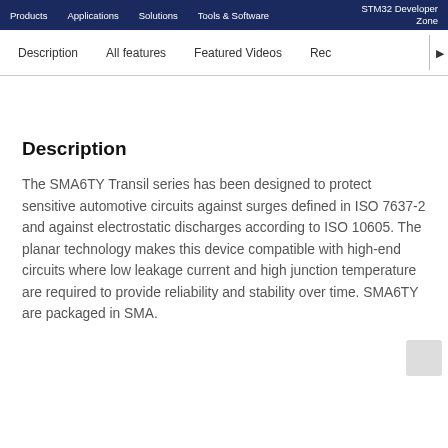Products   Applications   Solutions   Tools & Software   STM32 Developer Zone
Description   All features   Featured Videos   Rec▶
Description
The SMA6TY Transil series has been designed to protect sensitive automotive circuits against surges defined in ISO 7637-2 and against electrostatic discharges according to ISO 10605. The planar technology makes this device compatible with high-end circuits where low leakage current and high junction temperature are required to provide reliability and stability over time. SMA6TY are packaged in SMA.